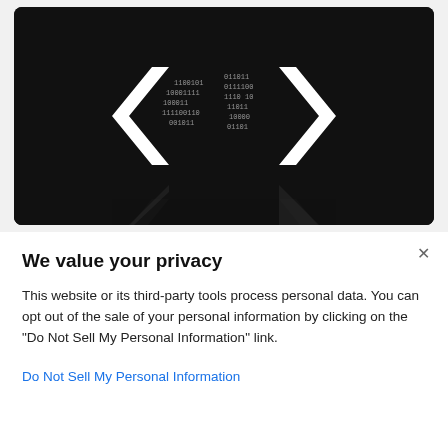[Figure (illustration): Dark background image with white code brackets (angle brackets < >) made of binary digits (0s and 1s), with a reflection effect below. The image represents coding/programming or digital data privacy.]
We value your privacy
This website or its third-party tools process personal data. You can opt out of the sale of your personal information by clicking on the "Do Not Sell My Personal Information" link.
Do Not Sell My Personal Information